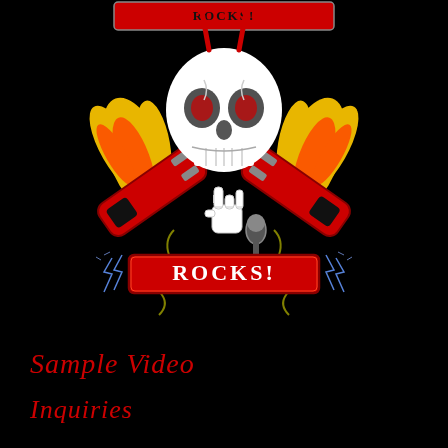[Figure (logo): Rock music logo featuring a white skull with flaming crossed red electric guitars, a skeleton hand making a rock gesture holding a microphone, and a red banner reading 'ROCKS!' with lightning bolt decorations on a black background]
Sample Video
Inquiries